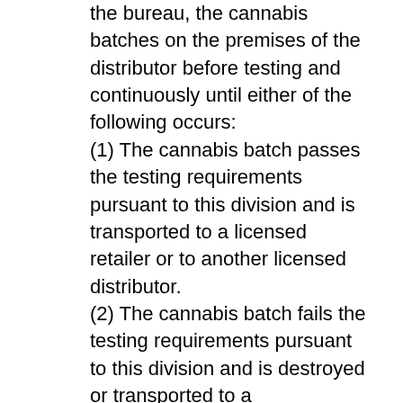the bureau, the cannabis batches on the premises of the distributor before testing and continuously until either of the following occurs: (1) The cannabis batch passes the testing requirements pursuant to this division and is transported to a licensed retailer or to another licensed distributor. (2) The cannabis batch fails the testing requirements pursuant to this division and is destroyed or transported to a manufacturer for remediation as allowed by the bureau or the State Department of Public Health. (d) The distributor shall arrange for a testing laboratory to obtain a representative sample of each cannabis batch at the distributor's licensed premises. After obtaining the sample, the testing laboratory representative shall maintain custody of the sample and transport it to the testing